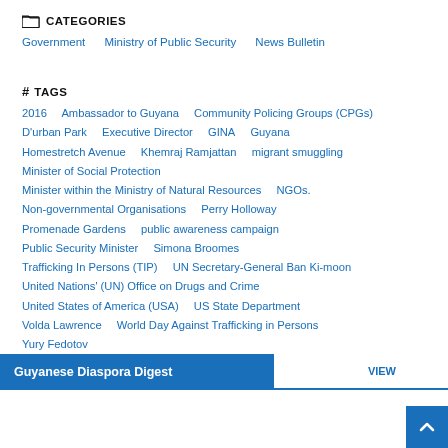CATEGORIES
Government   Ministry of Public Security   News Bulletin
# TAGS
2016   Ambassador to Guyana   Community Policing Groups (CPGs)   D'urban Park   Executive Director   GINA   Guyana   Homestretch Avenue   Khemraj Ramjattan   migrant smuggling   Minister of Social Protection   Minister within the Ministry of Natural Resources   NGOs.   Non-governmental Organisations   Perry Holloway   Promenade Gardens   public awareness campaign   Public Security Minister   Simona Broomes   Trafficking In Persons (TIP)   UN Secretary-General Ban Ki-moon   United Nations' (UN) Office on Drugs and Crime   United States of America (USA)   US State Department   Volda Lawrence   World Day Against Trafficking in Persons   Yury Fedotov
Guyanese Diaspora Digest
VIEW